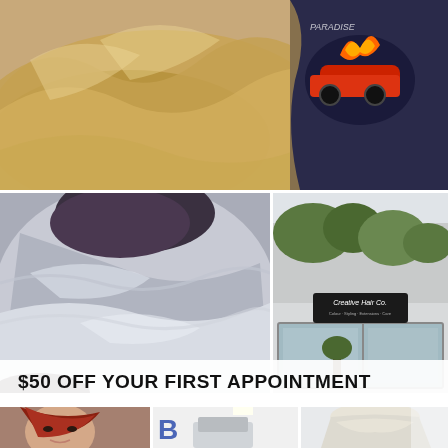[Figure (photo): Close-up of golden blonde wavy hair styled in loose waves, person wearing a graphic tee shirt with a red vintage car illustration]
[Figure (photo): Close-up of silver/blonde ombre balayage wavy hair]
[Figure (photo): Exterior of Creative Hair Co. salon building with large windows and signage]
$50 OFF YOUR FIRST APPOINTMENT
[Figure (photo): Woman with red/auburn bangs smiling]
[Figure (photo): Hair salon interior partial view]
[Figure (photo): Back of head with platinum blonde hair in salon setting]